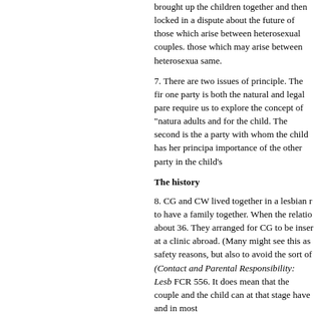brought up the children together and then locked in a dispute about the future of those which arise between heterosexual couples. those which may arise between heterosexual couples are the same.
7. There are two issues of principle. The first is that one party is both the natural and legal parent require us to explore the concept of "natura adults and for the child. The second is the a party with whom the child has her principal importance of the other party in the child's
The history
8. CG and CW lived together in a lesbian re to have a family together. When the relatio about 36. They arranged for CG to be inser at a clinic abroad. (Many might see this as safety reasons, but also to avoid the sort of (Contact and Parental Responsibility: Lesb FCR 556. It does mean that the couple and the child can at that stage have and in most
9. CG gave birth to two children, both girls now aged seven. Child B was born on 25 Ju breast fed. CW has a son, C, who is now ag insemination during a previous relationship proceedings that the girls have a positive re brother, and that he regards them as his sis